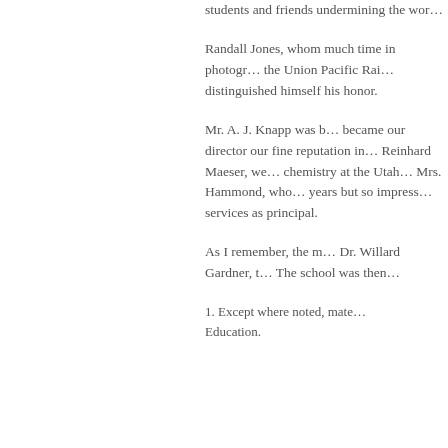students and friends undermining the wor…
Randall Jones, whom much time in photogr… the Union Pacific Rai… distinguished himself his honor.
Mr. A. J. Knapp was b… became our director our fine reputation in… Reinhard Maeser, we… chemistry at the Utab… Mrs. Hammond, who… years but so impress… services as principal.
As I remember, the m… Dr. Willard Gardner, t… The school was then…
1. Except where noted, mate… Education.